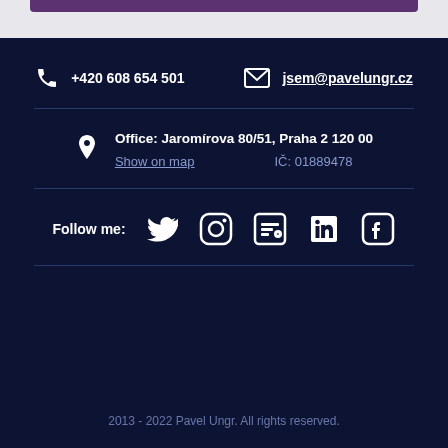+420 608 654 501
jsem@pavelungr.cz
Office: Jaromírova 80/51, Praha 2 120 00
Show on map
IČ: 01889478
Follow me:
2013 - 2022 Pavel Ungr. All rights reserved.